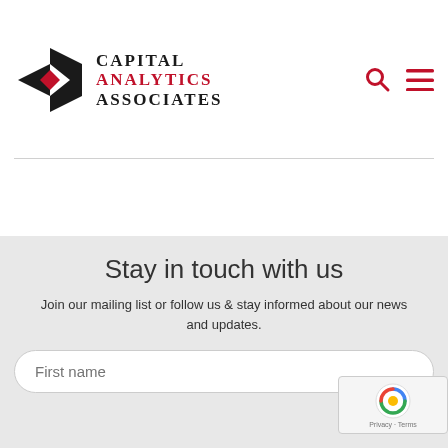[Figure (logo): Capital Analytics Associates logo with diamond/arrow chevron icon in black and red, and company name in serif text]
Stay in touch with us
Join our mailing list or follow us & stay informed about our news and updates.
First name